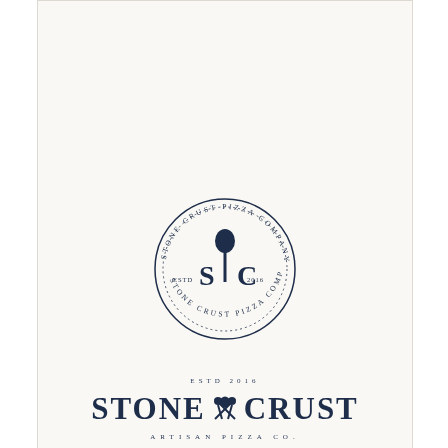[Figure (logo): Stone Crust Pizza Company circular badge logo with pizza peel icon and SC initials, plus wordmark reading STONE CRUST ARTISAN PIZZA CO. ESTD 2016]
by thisisremedy
138
[Figure (photo): Silhouette of a person with wind-blown hair against a hazy warm-toned sky background]